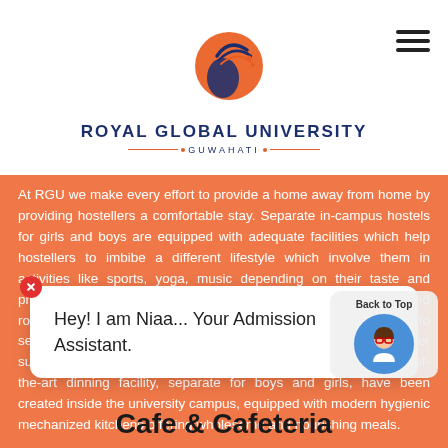[Figure (logo): Royal Global University logo — circular emblem with orange and blue bird/sun motif, university name and Guwahati text below with orange decorative divider]
At RGU we make every effort to provide a home away from home by providing hostellers a comfortable stay. Separate in-campus hostels for girls and boys are equipped with adequate facilities which help hostellers to imbibe a different lifestyle which involve them in activities like sports, yoga, music depending on their taste and preferences. Air conditioned hostel having two and three bedded rooms laid out in beautiful clusters offering plenty of buddy time to serve the effervescent mind along with 24 hour electricity, water supply, internet, TV sets, gyms and lifts. Tastefully designed state-of- the-art dinning facility, separate for boys and girls, have been created inside the university campus, equipped with modern hygienic mechanized kitchens offering wholesome and nourishing meals.
[Figure (screenshot): Chat popup with close (X) button showing text: Hey! I am Niaa... Your Admission Assistant. On the right is a Back to Top button with a female avatar icon.]
Cafe & Cafeteria